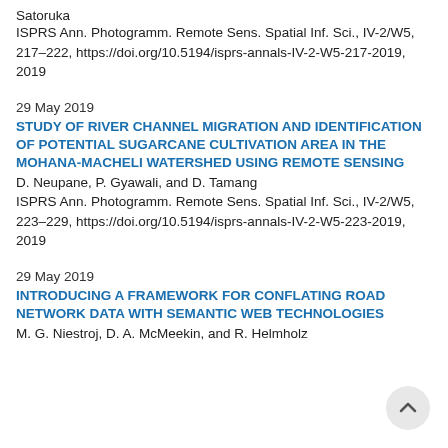Satoruka
ISPRS Ann. Photogramm. Remote Sens. Spatial Inf. Sci., IV-2/W5, 217–222, https://doi.org/10.5194/isprs-annals-IV-2-W5-217-2019, 2019
29 May 2019
STUDY OF RIVER CHANNEL MIGRATION AND IDENTIFICATION OF POTENTIAL SUGARCANE CULTIVATION AREA IN THE MOHANA-MACHELI WATERSHED USING REMOTE SENSING
D. Neupane, P. Gyawali, and D. Tamang
ISPRS Ann. Photogramm. Remote Sens. Spatial Inf. Sci., IV-2/W5, 223–229, https://doi.org/10.5194/isprs-annals-IV-2-W5-223-2019, 2019
29 May 2019
INTRODUCING A FRAMEWORK FOR CONFLATING ROAD NETWORK DATA WITH SEMANTIC WEB TECHNOLOGIES
M. G. Niestroj, D. A. McMeekin, and R. Helmholz